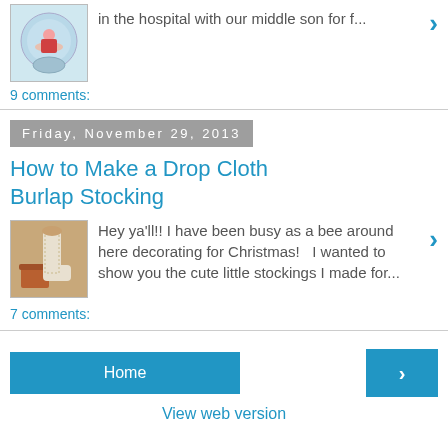[Figure (photo): Thumbnail image of a snow globe with a clown/Santa figure inside]
in the hospital with our middle son for f...
9 comments:
Friday, November 29, 2013
How to Make a Drop Cloth Burlap Stocking
[Figure (photo): Thumbnail image of a burlap stocking hanging near flower pots]
Hey ya'll!! I have been busy as a bee around here decorating for Christmas!   I wanted to show you the cute little stockings I made for...
7 comments:
Home
View web version